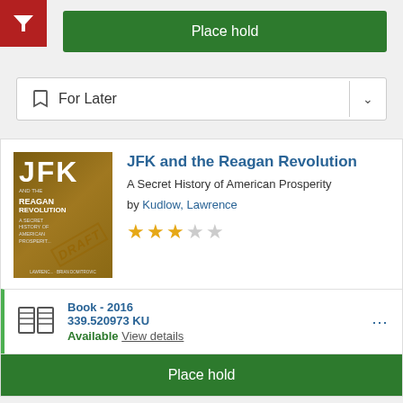[Figure (screenshot): Red filter button icon in top-left corner]
Place hold
For Later
[Figure (illustration): Book cover: JFK and the Reagan Revolution - A Secret History of American Prosperity, with DRAFT stamp]
JFK and the Reagan Revolution
A Secret History of American Prosperity
by Kudlow, Lawrence
[Figure (other): 3 out of 5 stars rating]
Book - 2016
339.520973 KU
Available View details
Place hold